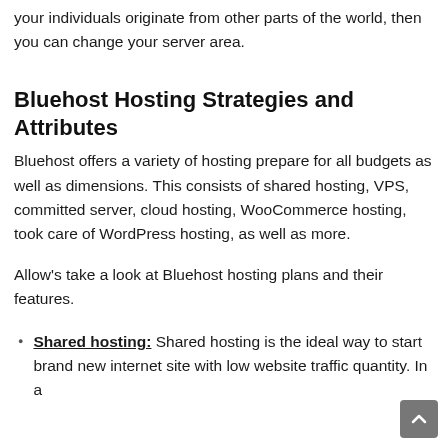your individuals originate from other parts of the world, then you can change your server area.
Bluehost Hosting Strategies and Attributes
Bluehost offers a variety of hosting prepare for all budgets as well as dimensions. This consists of shared hosting, VPS, committed server, cloud hosting, WooCommerce hosting, took care of WordPress hosting, as well as more.
Allow's take a look at Bluehost hosting plans and their features.
Shared hosting: Shared hosting is the ideal way to start a brand new internet site with low website traffic quantity. In a